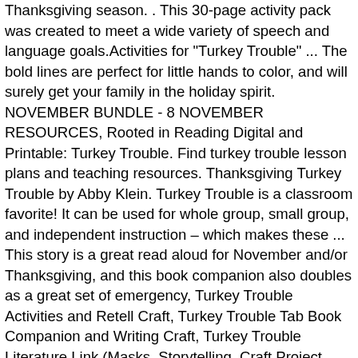Thanksgiving season. . This 30-page activity pack was created to meet a wide variety of speech and language goals.Activities for "Turkey Trouble" ... The bold lines are perfect for little hands to color, and will surely get your family in the holiday spirit. NOVEMBER BUNDLE - 8 NOVEMBER RESOURCES, Rooted in Reading Digital and Printable: Turkey Trouble. Find turkey trouble lesson plans and teaching resources. Thanksgiving Turkey Trouble by Abby Klein. Turkey Trouble is a classroom favorite! It can be used for whole group, small group, and independent instruction – which makes these ... This story is a great read aloud for November and/or Thanksgiving, and this book companion also doubles as a great set of emergency, Turkey Trouble Activities and Retell Craft, Turkey Trouble Tab Book Companion and Writing Craft, Turkey Trouble Literature Link (Masks, Storytelling, Craft Project, Writing), Turkey Trouble ELA Resource Pack and Directed Drawing Craft, TURKEY TROUBLE Craft, Activities, and STEM challenge, Sunshine and Rainbows in Teaching- Debi Salazar, Thanksgiving Craft Turkey Trouble Paper Bag Puppets, Turkey Trouble Companion Thanksgiving Summarizing, SWBST, Retell, Writing, Craft. You will love this clever Turkey Math printable activity!This thanksgiving math craft is such a fun way for children to practice counting 1-10 as they add clothespin turkey feathers to the free turkey printable. Teachers